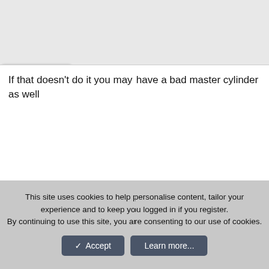If that doesn't do it you may have a bad master cylinder as well
This site uses cookies to help personalise content, tailor your experience and to keep you logged in if you register.
By continuing to use this site, you are consenting to our use of cookies.